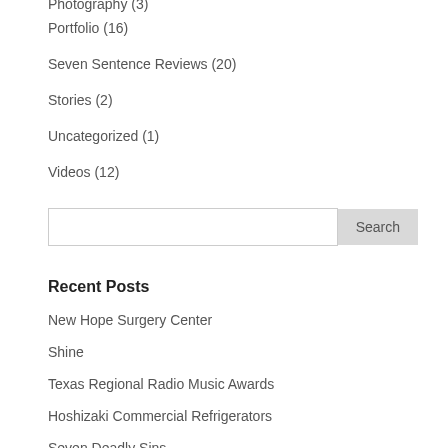Photography (3)
Portfolio (16)
Seven Sentence Reviews (20)
Stories (2)
Uncategorized (1)
Videos (12)
Recent Posts
New Hope Surgery Center
Shine
Texas Regional Radio Music Awards
Hoshizaki Commercial Refrigerators
Seven Deadly Sins